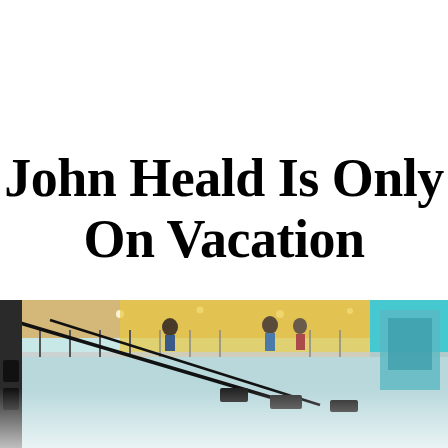John Heald Is Only On Vacation
[Figure (photo): Interior photograph of a cruise ship atrium or entertainment deck showing a balcony/mezzanine level with railings, people standing and sitting, bright yellow and teal/cyan decorative walls, ceiling lights, and camera/equipment rigs in the foreground. The lower portion fades to white.]